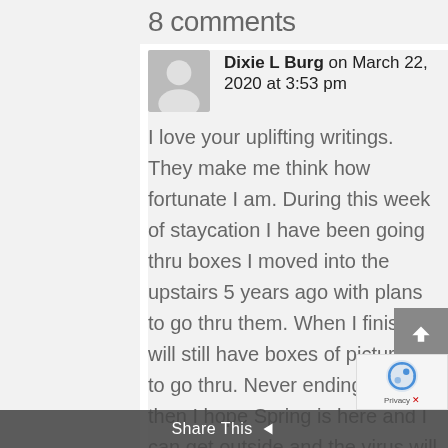8 comments
Dixie L Burg on March 22, 2020 at 3:53 pm
I love your uplifting writings. They make me think how fortunate I am. During this week of staycation I have been going thru boxes I moved into the upstairs 5 years ago with plans to go thru them. When I finish I will still have boxes of pictures to go thru. Never ending and then I hope Spring is here and I can get outside and the virus will be gone. God is good!